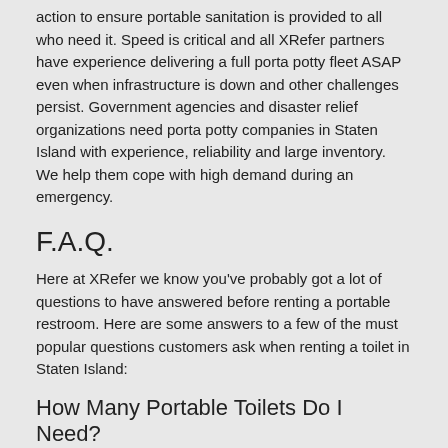action to ensure portable sanitation is provided to all who need it. Speed is critical and all XRefer partners have experience delivering a full porta potty fleet ASAP even when infrastructure is down and other challenges persist. Government agencies and disaster relief organizations need porta potty companies in Staten Island with experience, reliability and large inventory. We help them cope with high demand during an emergency.
F.A.Q.
Here at XRefer we know you've probably got a lot of questions to have answered before renting a portable restroom. Here are some answers to a few of the must popular questions customers ask when renting a toilet in Staten Island:
How Many Portable Toilets Do I Need?
Short answer: 1 portable toilet serves up to 10 people for an entire day, or up to 50 people for a 1 hour event.
However, in reality this is the most important and difficult question you need to answer. It is not straightforward because you cannot calculate the number of porta potties needed based on a simple calculation, i.e. (# of people * # of hours). For